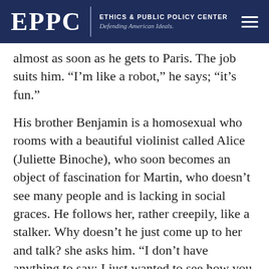EPPC | ETHICS & PUBLIC POLICY CENTER Defending American Ideals.
almost as soon as he gets to Paris. The job suits him. “I’m like a robot,” he says; “it’s fun.”
His brother Benjamin is a homosexual who rooms with a beautiful violinist called Alice (Juliette Binoche), who soon becomes an object of fascination for Martin, who doesn’t see many people and is lacking in social graces. He follows her, rather creepily, like a stalker. Why doesn’t he just come up to her and talk? she asks him. “I don’t have anything to say; I just wanted to see how you spend your days.” She is rather alarmed when, finally, he declares his